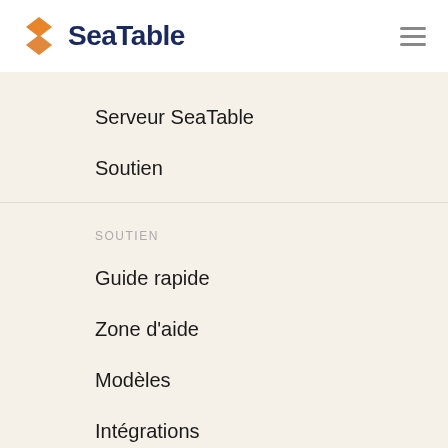SeaTable
Serveur SeaTable
Soutien
SOUTIEN
Guide rapide
Zone d'aide
Modèles
Intégrations
Forum